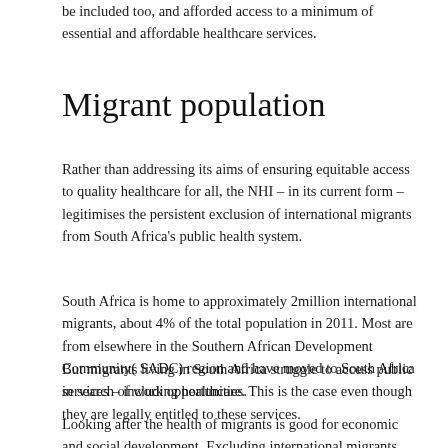be included too, and afforded access to a minimum of essential and affordable healthcare services.
Migrant population
Rather than addressing its aims of ensuring equitable access to quality healthcare for all, the NHI – in its current form – legitimises the persistent exclusion of international migrants from South Africa's public health system.
South Africa is home to approximately 2million international migrants, about 4% of the total population in 2011. Most are from elsewhere in the Southern African Development Community( SADC) region and have moved to South Africa in search of work opportunities.
But migrants living in South Africa struggle to access public services – including healthcare. This is the case even though they are legally entitled to these services.
Looking after the health of migrants is good for economic and social development. Excluding international migrants from the public health care system can result in a population-wide risk. Denying a part of the population